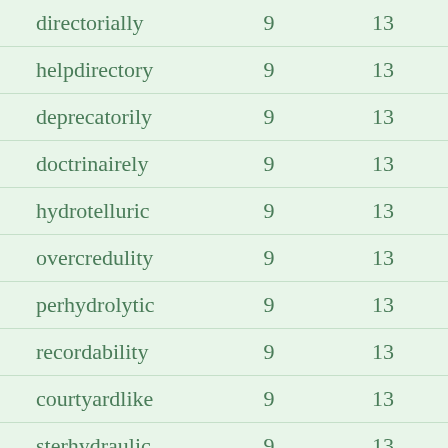| directorially | 9 | 13 |
| helpdirectory | 9 | 13 |
| deprecatorily | 9 | 13 |
| doctrinairely | 9 | 13 |
| hydrotelluric | 9 | 13 |
| overcredulity | 9 | 13 |
| perhydrolytic | 9 | 13 |
| recordability | 9 | 13 |
| courtyardlike | 9 | 13 |
| sterhydraulic | 9 | 13 |